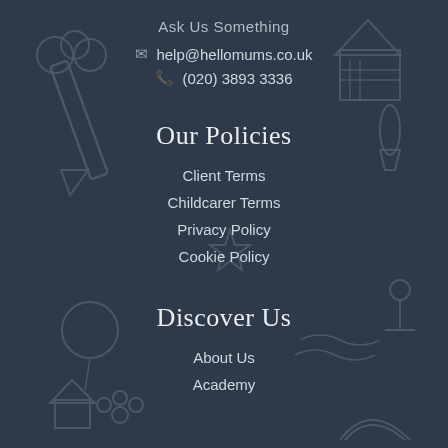Ask Us Something
help@hellomums.co.uk
(020) 3893 3336
Our Policies
Client Terms
Childcarer Terms
Privacy Policy
Cookie Policy
Discover Us
About Us
Academy